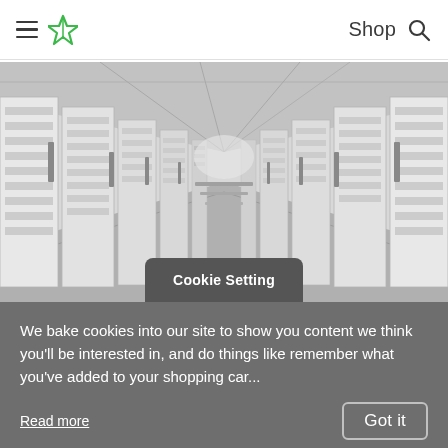Shop [search icon]
[Figure (photo): Black and white photo of a server room corridor with server racks on both sides receding into the distance]
Cookie Setting
We bake cookies into our site to show you content we think you'll be interested in, and do things like remember what you've added to your shopping car...
Read more
Got it